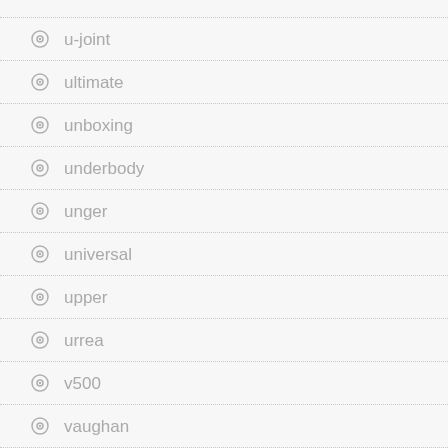u-joint
ultimate
unboxing
underbody
unger
universal
upper
urrea
v500
vaughan